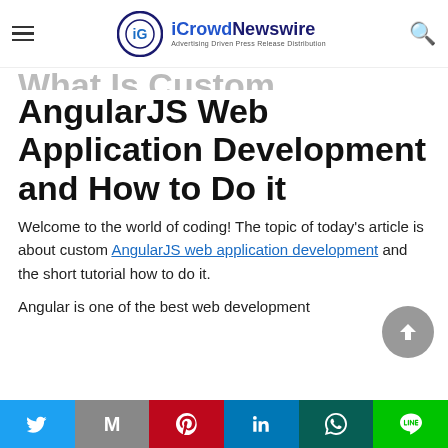iCrowdNewswire — Advertising Driven Press Release Distribution
What Is Custom AngularJS Web Application Development and How to Do it
Welcome to the world of coding! The topic of today's article is about custom AngularJS web application development and the short tutorial how to do it.
Angular is one of the best web development
Twitter, Gmail, Pinterest, LinkedIn, WhatsApp, LINE social share buttons